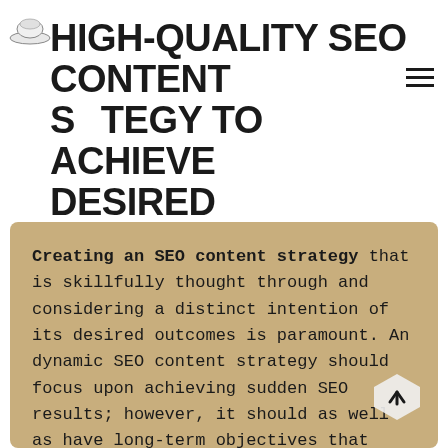HIGH-QUALITY SEO CONTENT STRATEGY TO ACHIEVE DESIRED OUTCOMES
Creating an SEO content strategy that is skillfully thought through and considering a distinct intention of its desired outcomes is paramount. An dynamic SEO content strategy should focus upon achieving sudden SEO results; however, it should as well as have long-term objectives that will allow a situation to be sustainable and prosperous. SEO Mafia thinks an SEO content strategy should evolve